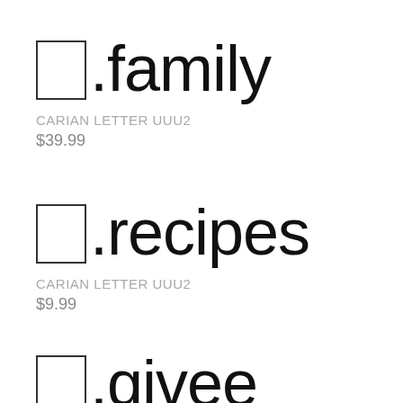Ⴀ.family
CARIAN LETTER UUU2
$39.99
Ⴀ.recipes
CARIAN LETTER UUU2
$9.99
Ⴀ.givee...